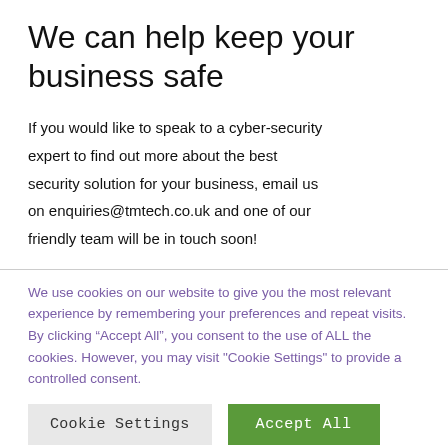We can help keep your business safe
If you would like to speak to a cyber-security expert to find out more about the best security solution for your business, email us on enquiries@tmtech.co.uk and one of our friendly team will be in touch soon!
We use cookies on our website to give you the most relevant experience by remembering your preferences and repeat visits. By clicking “Accept All”, you consent to the use of ALL the cookies. However, you may visit "Cookie Settings" to provide a controlled consent.